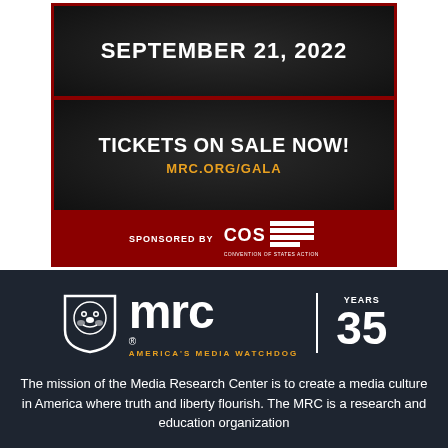[Figure (infographic): MRC Gala advertisement on dark textured background with red border. Shows date September 21, 2022, tickets on sale now at MRC.ORG/GALA, sponsored by COS (Convention of States Action)]
[Figure (logo): MRC 35 Years logo — bulldog mascot shield icon, white 'mrc' wordmark, 'AMERICA'S MEDIA WATCHDOG' tagline in gold, vertical divider, '35 YEARS' text]
The mission of the Media Research Center is to create a media culture in America where truth and liberty flourish. The MRC is a research and education organization